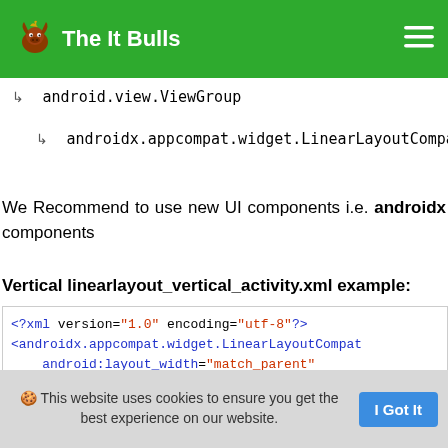The It Bulls
↳   android.view.ViewGroup
↳   androidx.appcompat.widget.LinearLayoutCompat
We Recommend to use new UI components i.e. androidx components
Vertical linearlayout_vertical_activity.xml example:
<?xml version="1.0" encoding="utf-8"?>
<androidx.appcompat.widget.LinearLayoutCompat
    android:layout_width="match_parent"
🍪 This website uses cookies to ensure you get the best experience on our website.